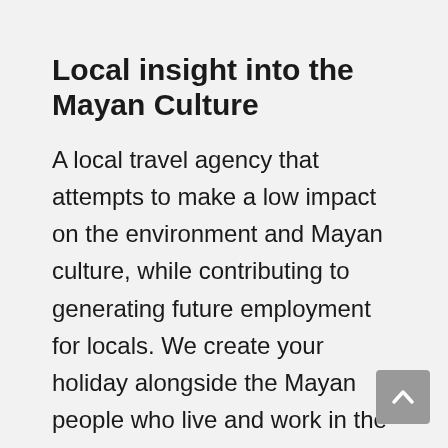Local insight into the Mayan Culture
A local travel agency that attempts to make a low impact on the environment and Mayan culture, while contributing to generating future employment for locals. We create your holiday alongside the Mayan people who live and work in the places that you will be visiting. Due to this, guides working with us care about giving you an exceptional